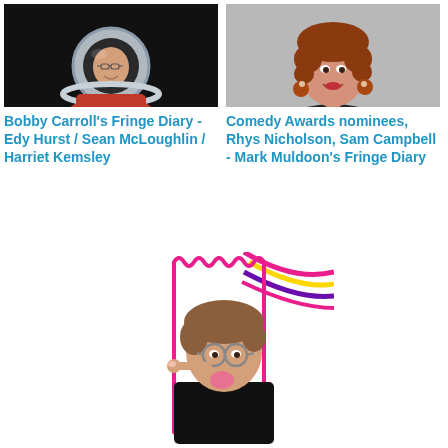[Figure (photo): Man wearing a silver astronaut helmet with red suit against black background]
Bobby Carroll's Fringe Diary - Edy Hurst / Sean McLoughlin / Harriet Kemsley
[Figure (photo): Woman with curly red hair smiling, wearing black top against grey background]
Comedy Awards nominees, Rhys Nicholson, Sam Campbell - Mark Muldoon's Fringe Diary
[Figure (photo): Young woman with glasses sticking tongue out and pointing finger at face, with colourful wavy pink border and rainbow streaks background, black top]